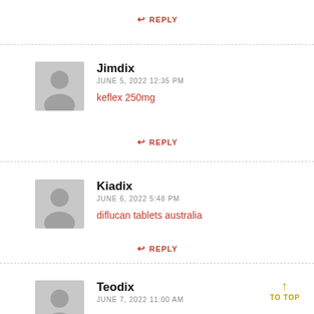REPLY
Jimdix
JUNE 5, 2022 12:35 PM
keflex 250mg
REPLY
Kiadix
JUNE 6, 2022 5:48 PM
diflucan tablets australia
REPLY
Teodix
JUNE 7, 2022 11:00 AM